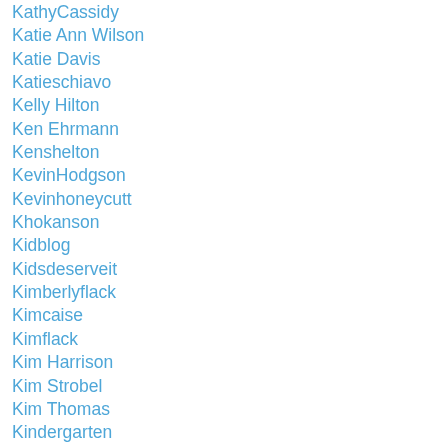KathyCassidy
Katie Ann Wilson
Katie Davis
Katieschiavo
Kelly Hilton
Ken Ehrmann
Kenshelton
KevinHodgson
Kevinhoneycutt
Khokanson
Kidblog
Kidsdeserveit
Kimberlyflack
Kimcaise
Kimflack
Kim Harrison
Kim Strobel
Kim Thomas
Kindergarten
Kori Street
Kristenbeck